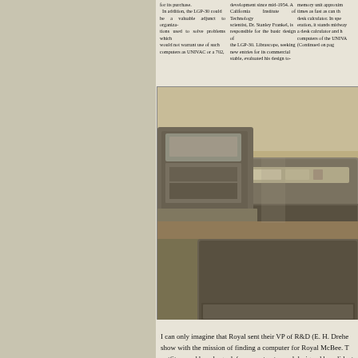for its purchase. In addition, the LGP-30 could be a valuable adjunct to organizations used to solve problems which would not warrant use of such computers as UNIVAC or a 702,
development since mid-1954. A California Institute of Technology scientist, Dr. Stanley Frankel, is responsible for the basic design of the LGP-30. Librascope, seeking new entries for its commercial stable, evaluated his design to-
memory unit approxim times as fast as can th desk calculator. In spe eration, it stands midway a desk calculator and h computers of the UNIVA (Continued on pag
[Figure (photo): Black and white photograph of the LGP-30 computer, showing a desk-sized machine with a printer/typewriter unit on the left side and the main console unit on the right. The machine has a wood-grain finish cabinet.]
Paul Kane, in the story to the right , looks like he
I can only imagine that Royal sent their VP of R&D (E. H. Drehe show with the mission of finding a computer for Royal McBee. T outfit owned by a large defense contractor and designed by a li lost to history, but in the end Royal McBee made a move that s line.